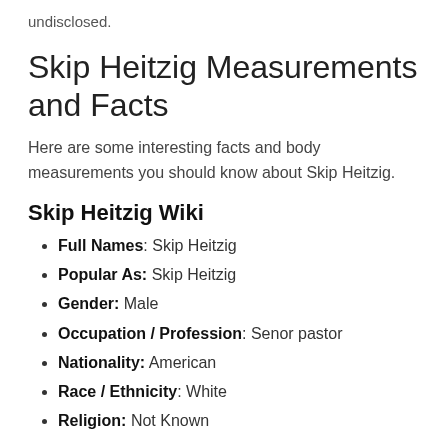undisclosed.
Skip Heitzig Measurements and Facts
Here are some interesting facts and body measurements you should know about Skip Heitzig.
Skip Heitzig Wiki
Full Names: Skip Heitzig
Popular As: Skip Heitzig
Gender: Male
Occupation / Profession: Senor pastor
Nationality: American
Race / Ethnicity: White
Religion: Not Known